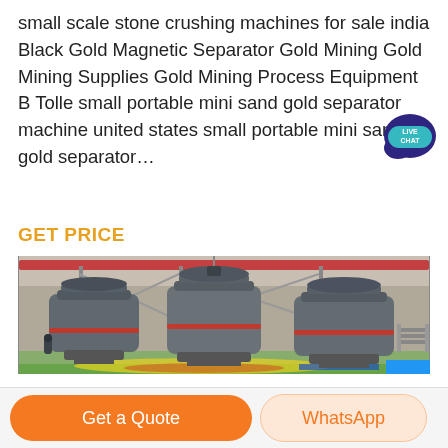small scale stone crushing machines for sale india Black Gold Magnetic Separator Gold Mining Gold Mining Supplies Gold Mining Process Equipment B Tolle small portable mini sand gold separator machine united states small portable mini sand gold separator...
GET PRICE
[Figure (photo): Industrial photo showing three large cylindrical grinding/milling machines inside a factory/warehouse building with overhead conveyor structures and red/blue floor markings.]
Get a Quote
WhatsApp